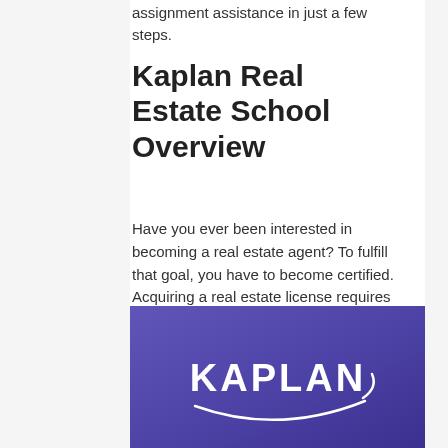assignment assistance in just a few steps.
Kaplan Real Estate School Overview
Have you ever been interested in becoming a real estate agent? To fulfill that goal, you have to become certified. Acquiring a real estate license requires you to go to school.
[Figure (logo): Kaplan logo: white text 'KAPLAN' with a white curved swoosh arc on a purple/indigo gradient background]